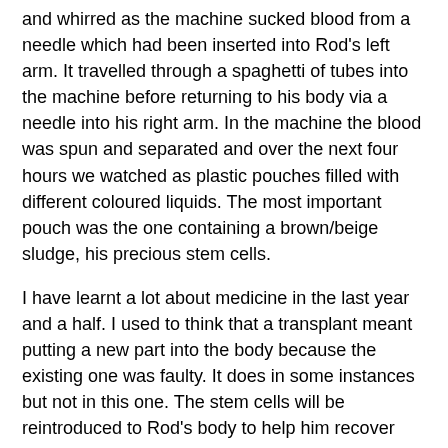and whirred as the machine sucked blood from a needle which had been inserted into Rod's left arm. It travelled through a spaghetti of tubes into the machine before returning to his body via a needle into his right arm. In the machine the blood was spun and separated and over the next four hours we watched as plastic pouches filled with different coloured liquids. The most important pouch was the one containing a brown/beige sludge, his precious stem cells.
I have learnt a lot about medicine in the last year and a half. I used to think that a transplant meant putting a new part into the body because the existing one was faulty. It does in some instances but not in this one. The stem cells will be reintroduced to Rod's body to help him recover should he need to have high dose chemotherapy treatment. We hope they'll never be used but it's reassuring to know that they're there if needed, rather like my writer's notebook where all my treasured ideas and creative thoughts are collected and stored just in case one day I need them.
Future blogs: